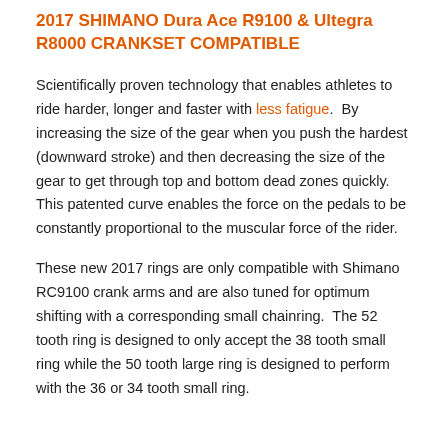2017 SHIMANO Dura Ace R9100 & Ultegra R8000 CRANKSET COMPATIBLE
Scientifically proven technology that enables athletes to ride harder, longer and faster with less fatigue.  By increasing the size of the gear when you push the hardest (downward stroke) and then decreasing the size of the gear to get through top and bottom dead zones quickly.  This patented curve enables the force on the pedals to be constantly proportional to the muscular force of the rider.
These new 2017 rings are only compatible with Shimano RC9100 crank arms and are also tuned for optimum shifting with a corresponding small chainring.  The 52 tooth ring is designed to only accept the 38 tooth small ring while the 50 tooth large ring is designed to perform with the 36 or 34 tooth small ring.